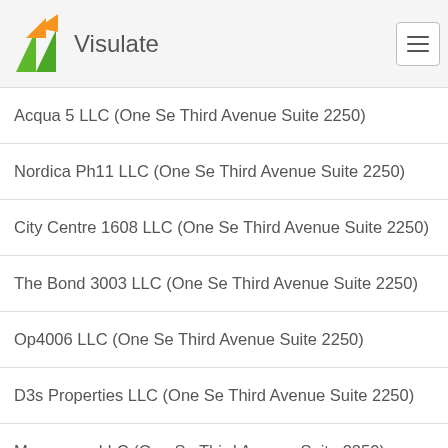Visulate
Acqua 5 LLC (One Se Third Avenue Suite 2250)
Nordica Ph11 LLC (One Se Third Avenue Suite 2250)
City Centre 1608 LLC (One Se Third Avenue Suite 2250)
The Bond 3003 LLC (One Se Third Avenue Suite 2250)
Op4006 LLC (One Se Third Avenue Suite 2250)
D3s Properties LLC (One Se Third Avenue Suite 2250)
Mwangaza LLC (One Se Third Avenue Suite 2250)
Pepepapo LLC (One Se Third Avenue Suite 2250)
Mucap Fl LLC (One Se Third Avenue Suite 2250)
Jpf Tavira 35 LLC (One Se Third Avenue Suite 2250)